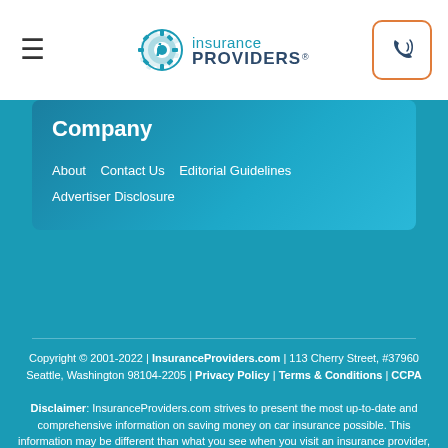[Figure (logo): iinsurance PROVIDERS logo with gear/cog icon]
Company
About
Contact Us
Editorial Guidelines
Advertiser Disclosure
Copyright © 2001-2022 | InsuranceProviders.com | 113 Cherry Street, #37960 Seattle, Washington 98104-2205 | Privacy Policy | Terms & Conditions | CCPA
Disclaimer: InsuranceProviders.com strives to present the most up-to-date and comprehensive information on saving money on car insurance possible. This information may be different than what you see when you visit an insurance provider, insurance agency, or insurance company website. All insurance rates, products, and services are presented without warranty and guarantee. When evaluating rates, please verify directly with your insurance company or agent. Quotes and offers are not